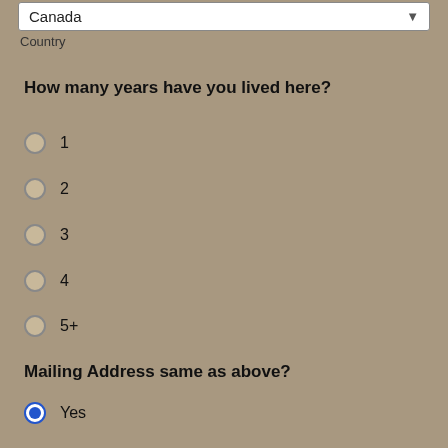Canada
Country
How many years have you lived here?
1
2
3
4
5+
Mailing Address same as above?
Yes (selected)
No
Date of Birth: *